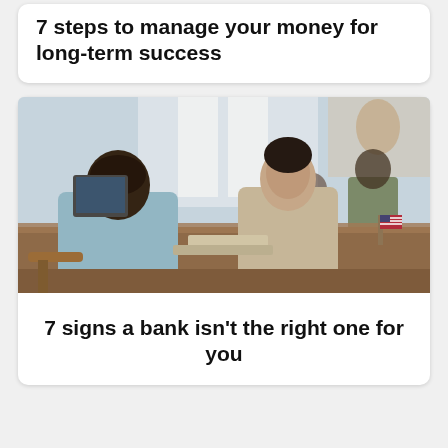7 steps to manage your money for long term success
[Figure (photo): Two women sitting across a desk in a bank branch, appearing to be in a financial consultation. One woman faces away from camera wearing a light blue top, the other faces forward in a beige top. In the background, other people are seated at desks. A small American flag is visible on the desk.]
7 signs a bank isn't the right one for you